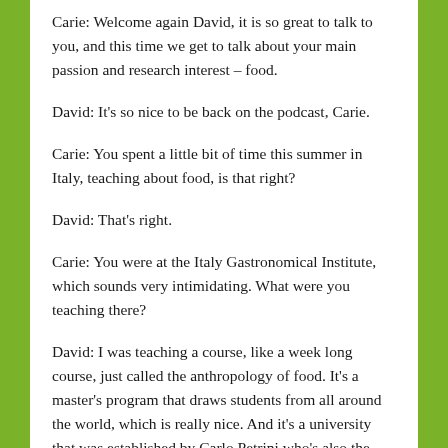Carie: Welcome again David, it is so great to talk to you, and this time we get to talk about your main passion and research interest – food.
David: It's so nice to be back on the podcast, Carie.
Carie: You spent a little bit of time this summer in Italy, teaching about food, is that right?
David: That's right.
Carie: You were at the Italy Gastronomical Institute, which sounds very intimidating. What were you teaching there?
David: I was teaching a course, like a week long course, just called the anthropology of food. It's a master's program that draws students from all around the world, which is really nice. And it's a university that was established by Carlo Petrini who's also the founder of the slow food movement. And so, it's a great